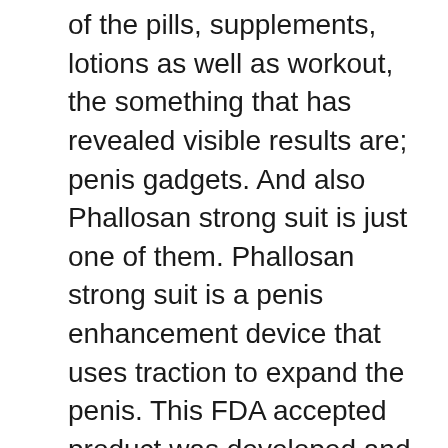of the pills, supplements, lotions as well as workout, the something that has revealed visible results are; penis gadgets. And also Phallosan strong suit is just one of them. Phallosan strong suit is a penis enhancement device that uses traction to expand the penis. This FDA accepted product was developed and tested in Germany. The gadget deals with a progressive drawing approach that presses the penile tissue to tear as well as them repair themselves. In the process of devastation as well as entertainment, the cells break as well as reform causing enlargement of your penis. This technique has actually been examined medically prior to it was launched in the penis enhancement sector.